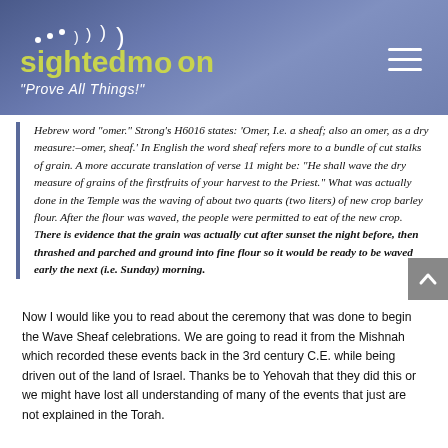sightedmoon "Prove All Things!"
Hebrew word “omer.” Strong’s H6016 states: ‘Omer, I.e. a sheaf; also an omer, as a dry measure:–omer, sheaf.’ In English the word sheaf refers more to a bundle of cut stalks of grain. A more accurate translation of verse 11 might be: “He shall wave the dry measure of grains of the firstfruits of your harvest to the Priest.” What was actually done in the Temple was the waving of about two quarts (two liters) of new crop barley flour. After the flour was waved, the people were permitted to eat of the new crop. There is evidence that the grain was actually cut after sunset the night before, then thrashed and parched and ground into fine flour so it would be ready to be waved early the next (i.e. Sunday) morning.
Now I would like you to read about the ceremony that was done to begin the Wave Sheaf celebrations. We are going to read it from the Mishnah which recorded these events back in the 3rd century C.E. while being driven out of the land of Israel. Thanks be to Yehovah that they did this or we might have lost all understanding of many of the events that just are not explained in the Torah.